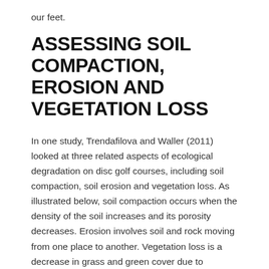our feet.
ASSESSING SOIL COMPACTION, EROSION AND VEGETATION LOSS
In one study, Trendafilova and Waller (2011) looked at three related aspects of ecological degradation on disc golf courses, including soil compaction, soil erosion and vegetation loss. As illustrated below, soil compaction occurs when the density of the soil increases and its porosity decreases. Erosion involves soil and rock moving from one place to another. Vegetation loss is a decrease in grass and green cover due to trampling.